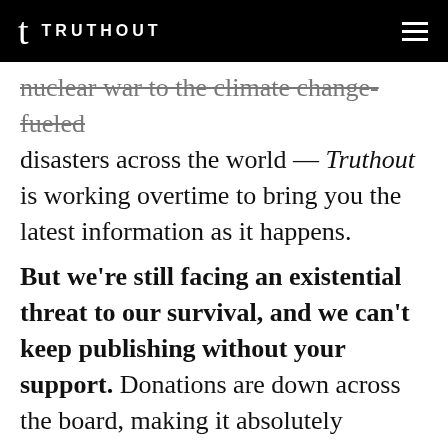TRUTHOUT
nuclear war to the climate change-fueled disasters across the world — Truthout is working overtime to bring you the latest information as it happens.
But we're still facing an existential threat to our survival, and we can't keep publishing without your support. Donations are down across the board, making it absolutely imperative that we raise what we need to meet our news production costs this month.